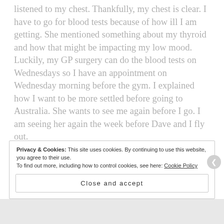listened to my chest. Thankfully, my chest is clear. I have to go for blood tests because of how ill I am getting. She mentioned something about my thyroid and how that might be impacting my low mood. Luckily, my GP surgery can do the blood tests on Wednesdays so I have an appointment on Wednesday morning before the gym. I explained how I want to be more settled before going to Australia. She wants to see me again before I go. I am seeing her again the week before Dave and I fly out.
Privacy & Cookies: This site uses cookies. By continuing to use this website, you agree to their use. To find out more, including how to control cookies, see here: Cookie Policy
Close and accept